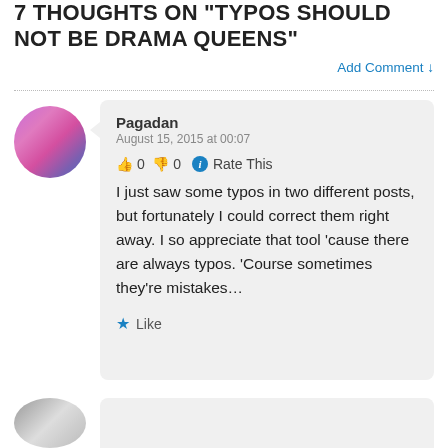7 THOUGHTS ON "TYPOS SHOULD NOT BE DRAMA QUEENS"
Add Comment ↓
Pagadan
August 15, 2015 at 00:07
👍 0 👎 0 ℹ Rate This
I just saw some typos in two different posts, but fortunately I could correct them right away. I so appreciate that tool 'cause there are always typos. 'Course sometimes they're mistakes…
★ Like